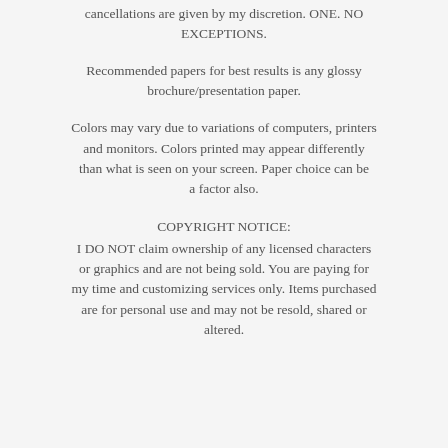cancellations are given by my discretion. ONE. NO EXCEPTIONS.
Recommended papers for best results is any glossy brochure/presentation paper.
Colors may vary due to variations of computers, printers and monitors. Colors printed may appear differently than what is seen on your screen. Paper choice can be a factor also.
COPYRIGHT NOTICE:
I DO NOT claim ownership of any licensed characters or graphics and are not being sold. You are paying for my time and customizing services only. Items purchased are for personal use and may not be resold, shared or altered.